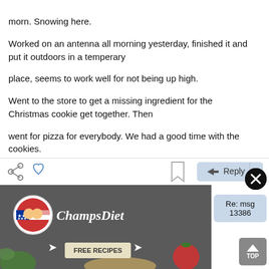morn.  Snowing here.
Worked on an antenna all morning yesterday, finished it and put it outdoors in a temperary
place, seems to work well for not being up high.
Went to the store to get a missing ingredient for the Christmas cookie get together.  Then
went for pizza for everybody.  We had a good time with the cookies.
Today I need to build a porch step for my daughter's house.  Old one is falling apart.
You and your family enjoy the day.
Ernie
[Figure (screenshot): Action bar with share, heart, bookmark icons and a Reply button]
[Figure (illustration): ChampsDiet advertisement banner with logo, title, and FREE RECIPES button]
[Figure (screenshot): Right side panel with close X button, Re: msg 13386 box, and TOP button]